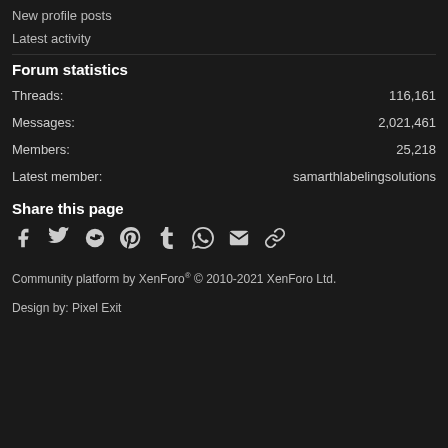New profile posts
Latest activity
Forum statistics
| Label | Value |
| --- | --- |
| Threads: | 116,161 |
| Messages: | 2,021,461 |
| Members: | 25,218 |
| Latest member: | samarthlabelingsolutions |
Share this page
[Figure (infographic): Social share icons: Facebook, Twitter, Reddit, Pinterest, Tumblr, WhatsApp, Email, Link]
Community platform by XenForo® © 2010-2021 XenForo Ltd.
Design by: Pixel Exit